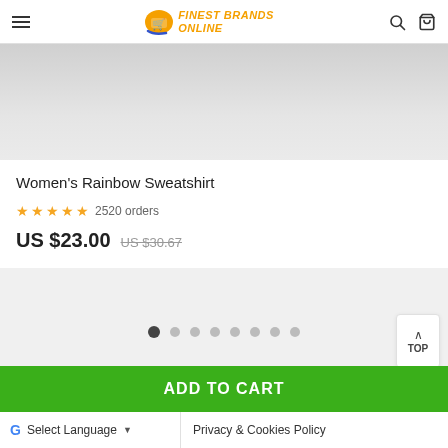FINEST BRANDS ONLINE
[Figure (photo): Partial product image of a Women's Rainbow Sweatshirt on a light gray background]
Women's Rainbow Sweatshirt
★★★★★ 2520 orders
US $23.00  US $30.67
ADD TO CART
Select Language | Privacy & Cookies Policy